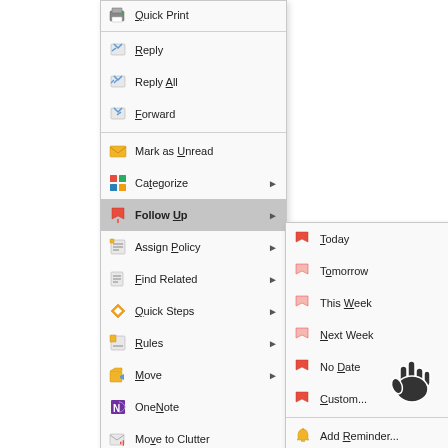[Figure (screenshot): Microsoft Outlook right-click context menu showing email options including Quick Print, Reply, Reply All, Forward, Mark as Unread, Categorize, Follow Up (highlighted/selected with submenu open), Assign Policy, Find Related, Quick Steps, Rules, Move, OneNote, Move to Clutter, Ignore, Junk, Delete, Archive. The Follow Up submenu shows: Today, Tomorrow, This Week, Next Week, No Date, Custom..., Add Reminder..., Mark Complete (highlighted with hand cursor pointing at it), Clear Flag, Set Quick Click...]